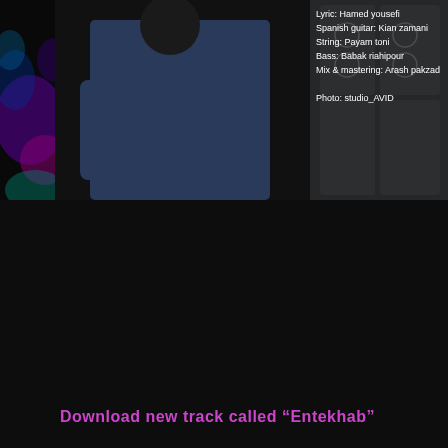[Figure (photo): A person in a denim shirt photographed from behind near dark ornate doors, with bokeh colored lights visible on the left side. Dark, moody atmosphere.]
Lyric: Hamed yousefi
Spanish guitar: Kian zamani
String: Payam toni
Bass: Babak riahipour
Mix & mastering: Arash pakzad
Photo: studio_AVID
Download new track called “Entekhab”
music producer & lyric: Hamed yousefi
guitar: Kian zamani
string: payam toni
bass guitar: Babak riahipour
mix & mastering: Arash pakzad